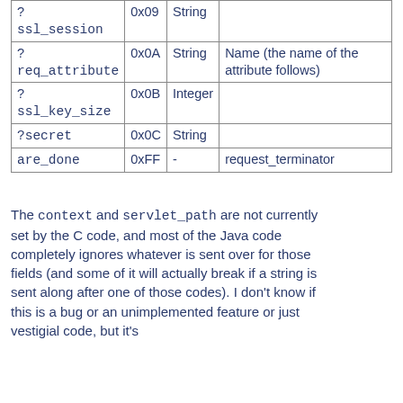| ?
ssl_session | 0x09 | String |  |
| ?
req_attribute | 0x0A | String | Name (the name of the attribute follows) |
| ?
ssl_key_size | 0x0B | Integer |  |
| ?secret | 0x0C | String |  |
| are_done | 0xFF | - | request_terminator |
The context and servlet_path are not currently set by the C code, and most of the Java code completely ignores whatever is sent over for those fields (and some of it will actually break if a string is sent along after one of those codes). I don't know if this is a bug or an unimplemented feature or just vestigial code, but it's